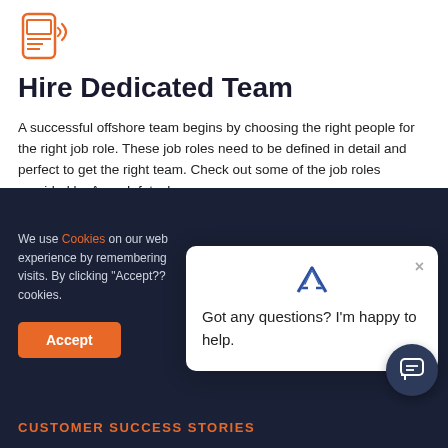[Figure (illustration): Orange outline icon of a mobile device with notification/broadcast waves on the right side]
Hire Dedicated Team
A successful offshore team begins by choosing the right people for the right job role. These job roles need to be defined in detail and perfect to get the right team. Check out some of the job roles provided by Amar Infotech.
We use Cookies on our web experience by remembering visits. By clicking "Accept?? cookies.
[Figure (logo): Amar Infotech logo - stylized A with double lines]
Got any questions? I'm happy to help.
CUSTOMER SUCCESS STORIES